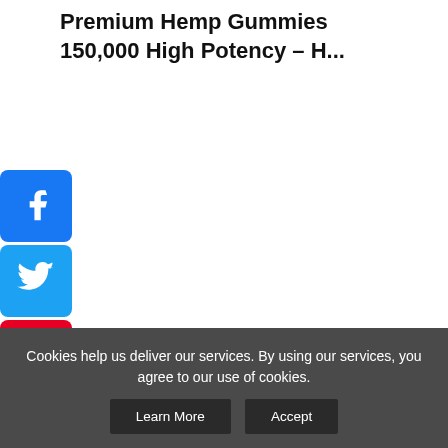Premium Hemp Gummies 150,000 High Potency – H...
[Figure (infographic): Social media sharing sidebar buttons: Facebook (blue), Twitter (blue), Pinterest (red), Tumblr (dark blue-gray), Add/Share (blue)]
Products   Categories   Site   Cookie Consent Policy   Contact Us   Hemp Shopping   Copyright © 2022. All rights reserved.
Hemp Shopping is a participant in the Amazon Services LLC Associates Program, an affiliate advertising program designed
Cookies help us deliver our services. By using our services, you agree to our use of cookies.